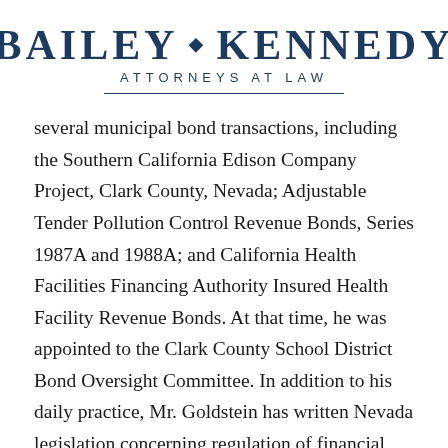[Figure (logo): Bailey Kennedy Attorneys at Law logo with diamond ornament between names and horizontal rule beneath]
several municipal bond transactions, including the Southern California Edison Company Project, Clark County, Nevada; Adjustable Tender Pollution Control Revenue Bonds, Series 1987A and 1988A; and California Health Facilities Financing Authority Insured Health Facility Revenue Bonds. At that time, he was appointed to the Clark County School District Bond Oversight Committee. In addition to his daily practice, Mr. Goldstein has written Nevada legislation concerning regulation of financial